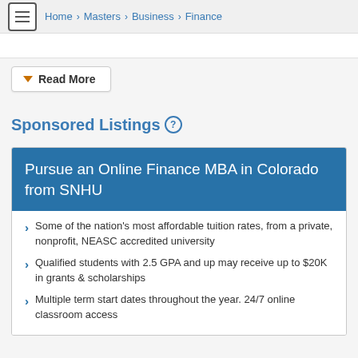Home > Masters > Business > Finance
Read More
Sponsored Listings
Pursue an Online Finance MBA in Colorado from SNHU
Some of the nation's most affordable tuition rates, from a private, nonprofit, NEASC accredited university
Qualified students with 2.5 GPA and up may receive up to $20K in grants & scholarships
Multiple term start dates throughout the year. 24/7 online classroom access